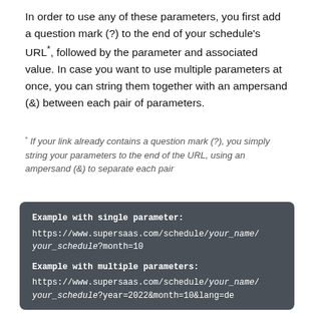In order to use any of these parameters, you first add a question mark (?) to the end of your schedule's URL*, followed by the parameter and associated value. In case you want to use multiple parameters at once, you can string them together with an ampersand (&) between each pair of parameters.
* If your link already contains a question mark (?), you simply string your parameters to the end of the URL, using an ampersand (&) to separate each pair
Example with single parameter:
https://www.supersaas.com/schedule/your_name/your_schedule?month=10

Example with multiple parameters:
https://www.supersaas.com/schedule/your_name/your_schedule?year=2022&month=10&lang=de